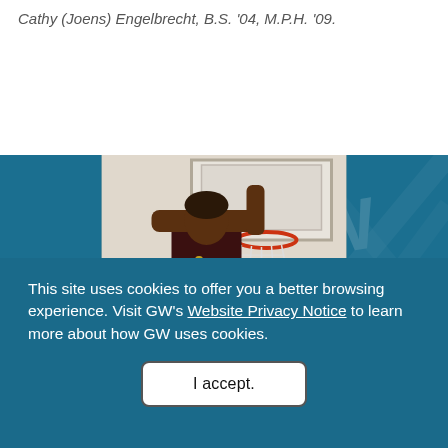Cathy (Joens) Engelbrecht, B.S. '04, M.P.H. '09.
[Figure (photo): A basketball game photo on a blue GW-branded banner background showing a player dunking or reaching above the basket, with a crowd visible in the background.]
This site uses cookies to offer you a better browsing experience. Visit GW's Website Privacy Notice to learn more about how GW uses cookies.
I accept.